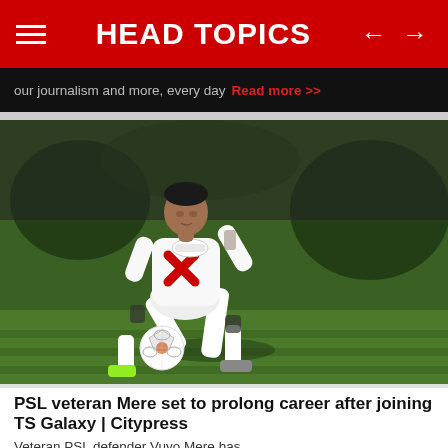HEAD TOPICS
our journalism and more, every day Read more >>
[Figure (photo): A PSL soccer player in white uniform with red X design kicking a ball on a green grass pitch at night]
PSL veteran Mere set to prolong career after joining TS Galaxy | Citypress
Veteran PSL defender Vuyo Mere has